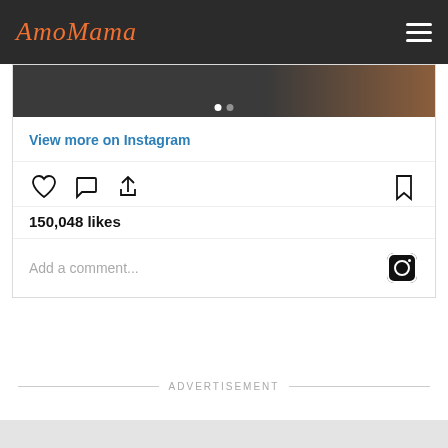AmoMama
[Figure (screenshot): Instagram embedded post card showing partial image strip with carousel dots, 'View more on Instagram' link, action icons (heart, comment, share, bookmark), 150,048 likes count, and comment input field with Instagram logo]
View more on Instagram
150,048 likes
Add a comment...
ADVERTISEMENT